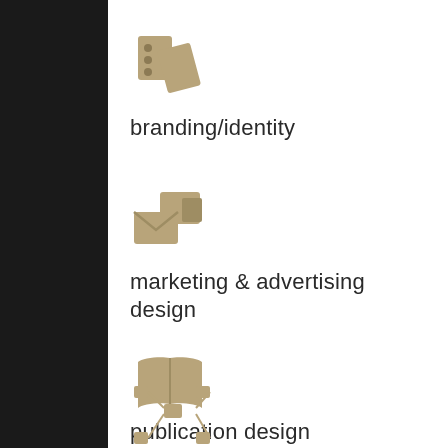[Figure (illustration): Gold/tan icon of color swatches/palette representing branding/identity]
branding/identity
[Figure (illustration): Gold/tan icon of mail/envelope and documents representing marketing & advertising design]
marketing & advertising design
[Figure (illustration): Gold/tan icon of an open book representing publication design]
publication design
[Figure (illustration): Gold/tan icon of a network/diagram representing another service category]